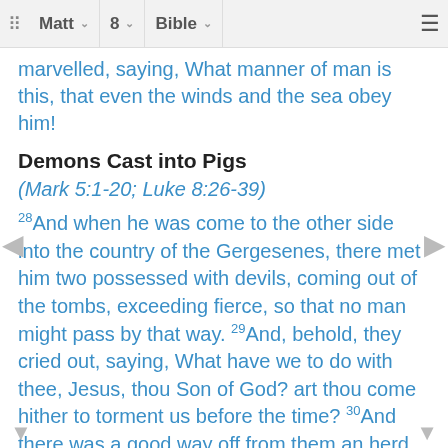Matt  8  Bible
marvelled, saying, What manner of man is this, that even the winds and the sea obey him!
Demons Cast into Pigs
(Mark 5:1-20; Luke 8:26-39)
28And when he was come to the other side into the country of the Gergesenes, there met him two possessed with devils, coming out of the tombs, exceeding fierce, so that no man might pass by that way. 29And, behold, they cried out, saying, What have we to do with thee, Jesus, thou Son of God? art thou come hither to torment us before the time? 30And there was a good way off from them an herd of many swine feeding. 31So the devils besought him, saying, If thou cast us out, suffer us to go away into the herd of swine. 32And he said unto them, Go. And when they were come out, they went into the